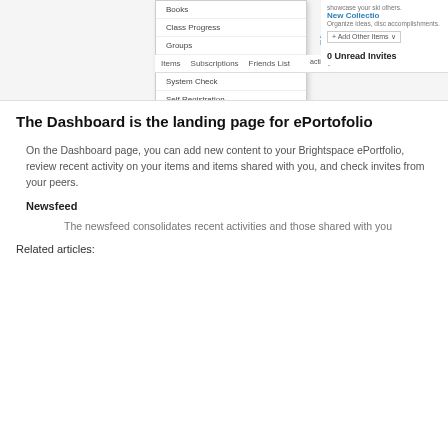[Figure (screenshot): Screenshot of Brightspace ePortfolio interface showing a dropdown navigation menu with items: Books, Class Progress, Groups, ePortfolio (highlighted in blue), System Check, Self Registration. Right panel shows New Collection option with 'Organize ideas, disc accomplishments.' text and '+ Add Other Items' button and '0 Unread Invites'. Top area shows Add Files and Add Link buttons, and navigation tabs: Items, Subscriptions, Friends List.]
The Dashboard is the landing page for ePortofolio
On the Dashboard page, you can add new content to your Brightspace ePortfolio, review recent activity on your items and items shared with you, and check invites from your peers.
Newsfeed
The newsfeed consolidates recent activities and those shared with you
Related articles: